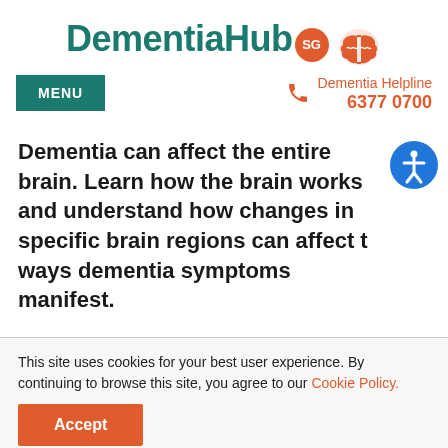[Figure (logo): DementiaHub.SG logo with teal text and orange brain icon]
MENU | Dementia Helpline 6377 0700
Dementia can affect the entire brain. Learn how the brain works and understand how changes in specific brain regions can affect the ways dementia symptoms manifest.
This site uses cookies for your best user experience. By continuing to browse this site, you agree to our Cookie Policy.
Accept